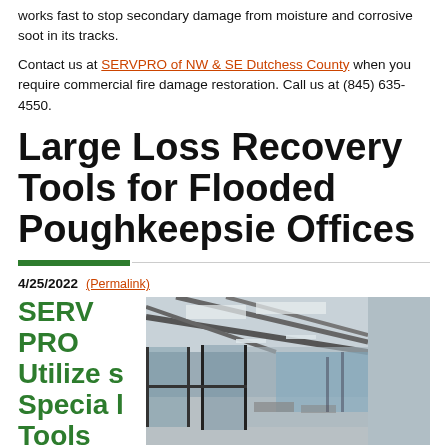works fast to stop secondary damage from moisture and corrosive soot in its tracks.
Contact us at SERVPRO of NW & SE Dutchess County when you require commercial fire damage restoration. Call us at (845) 635-4550.
Large Loss Recovery Tools for Flooded Poughkeepsie Offices
4/25/2022 (Permalink)
SERVPRO Utilizes Special Tools
[Figure (photo): Interior of a modern office with glass partitions, open ceiling, and workstations, appearing flooded or empty.]